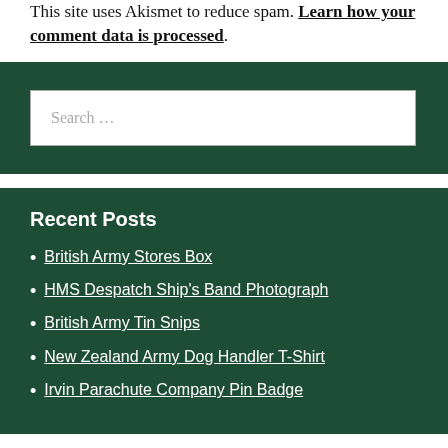This site uses Akismet to reduce spam. Learn how your comment data is processed.
Search …
Recent Posts
British Army Stores Box
HMS Despatch Ship's Band Photograph
British Army Tin Snips
New Zealand Army Dog Handler T-Shirt
Irvin Parachute Company Pin Badge